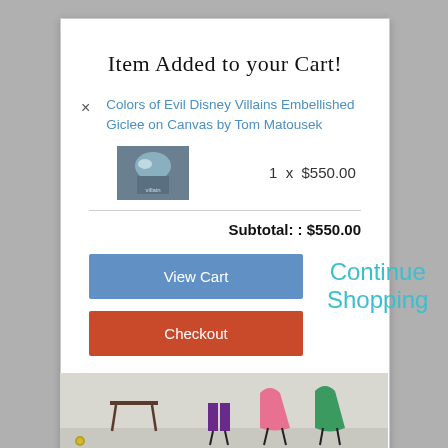Item Added to your Cart!
Colors of Evil Disney Villains Embellished Giclee on Canvas by Tom Matousek
1 x $550.00
Subtotal: : $550.00
View Cart
Checkout
Continue Shopping
[Figure (photo): Bottom portion showing Disney villain characters illustration]